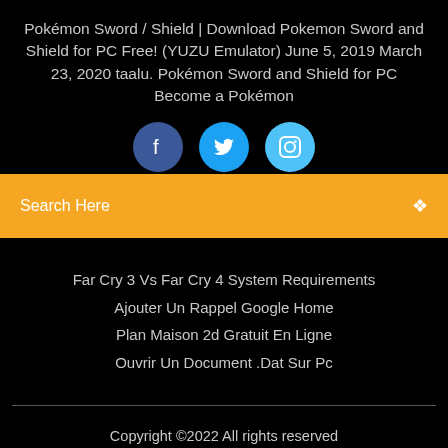Pokémon Sword / Shield | Download Pokemon Sword and Shield for PC Free! (YUZU Emulator) June 5, 2019 March 23, 2020 taalu. Pokémon Sword and Shield for PC Become a Pokémon
[Figure (illustration): Three social media icon circles: Facebook (dark blue), Twitter (blue), Instagram (light blue), partially visible at bottom]
Search Here
Far Cry 3 Vs Far Cry 4 System Requirements
Ajouter Un Rappel Google Home
Plan Maison 2d Gratuit En Ligne
Ouvrir Un Document .Dat Sur Pc
Copyright ©2022 All rights reserved